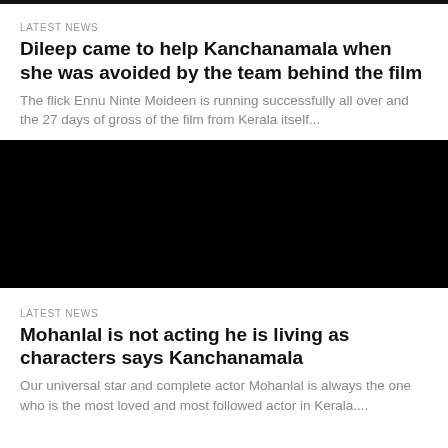LATEST NEWS
Dileep came to help Kanchanamala when she was avoided by the team behind the film
The flick Ennu Ninte Moideen is running successfully all over and the 27 days of gross of the film from Kerala itself...
[Figure (photo): Black rectangle image placeholder for news article]
LATEST NEWS
Mohanlal is not acting he is living as characters says Kanchanamala
Our universal star and complete actor Mohanlal is always the one who is the most loved and most followed actor in Kerala....